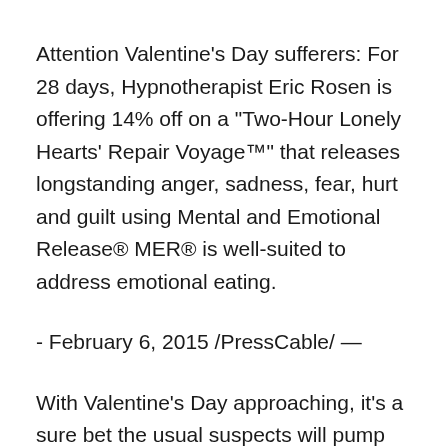Attention Valentine's Day sufferers: For 28 days, Hypnotherapist Eric Rosen is offering 14% off on a "Two-Hour Lonely Hearts' Repair Voyage™" that releases longstanding anger, sadness, fear, hurt and guilt using Mental and Emotional Release® MER® is well-suited to address emotional eating.
- February 6, 2015 /PressCable/ —
With Valentine's Day approaching, it's a sure bet the usual suspects will pump up demand for cards, flowers, chocolate, fine dining and, of course… lingerie. But what about those who are not in a